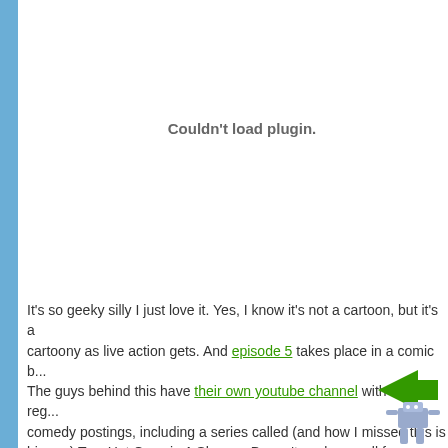[Figure (other): Plugin placeholder area with 'Couldn't load plugin.' message]
It's so geeky silly I just love it. Yes, I know it's not a cartoon, but it's as cartoony as live action gets. And episode 5 takes place in a comic b... The guys behind this have their own youtube channel with other reg... comedy postings, including a series called (and how I missed this is bizarre) Two Hot Guys in A Shower. Doesn't work as well for me. Bu... interests me is the way creativity and content continue to be democratized (though of course, the goal, you can be sure, for these guys is to "discovered" and make it big. So they can get their 8 million dollars a movie.
The fan page says that there are new episodes the 2nd and 4th Tuesday of every month. Since they started in August ...